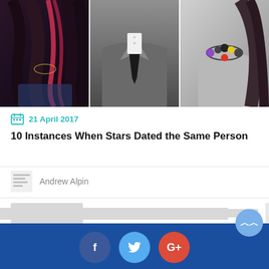[Figure (photo): Three-panel hero image: left panel shows a woman with dark hair streaked with red/pink highlights; center panel shows a man in a grey suit and black tie; right panel shows a woman wearing a colorful jeweled necklace.]
21 April 2017
10 Instances When Stars Dated the Same Person
Andrew Alpin
[Figure (photo): Placeholder thumbnail image (grey rectangle) for a related article.]